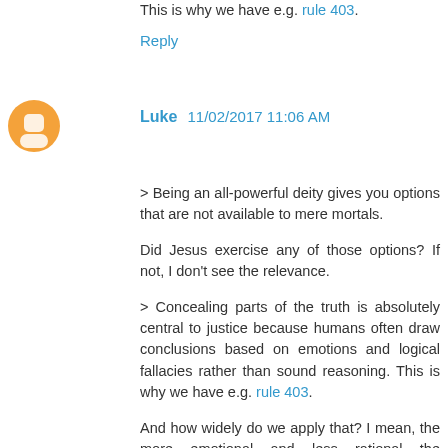This is why we have e.g. rule 403.
Reply
Luke  11/02/2017 11:06 AM
> Being an all-powerful deity gives you options that are not available to mere mortals.

Did Jesus exercise any of those options? If not, I don't see the relevance.

> Concealing parts of the truth is absolutely central to justice because humans often draw conclusions based on emotions and logical fallacies rather than sound reasoning. This is why we have e.g. rule 403.

And how widely do we apply that? I mean, the more emotional and less rational the population is said to be, the more they can be justifiably deceived. At some point, truth is just for the ruling elite; the rest can eat cake. Once the rulers are supposed to be particularly more noble than the ruled (or maybe even as noble—power corrupts!), you go